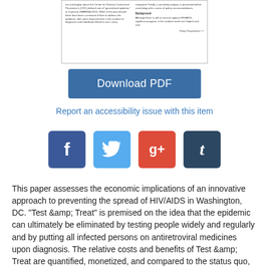[Figure (screenshot): Thumbnail preview of a PDF document showing two-column text layout with a 'Background' section header and footer reading 'Policy Perspectives • 7']
Download PDF
Report an accessibility issue with this item
[Figure (infographic): Four social media sharing buttons: Facebook (f), Twitter (bird), Google+ (g+), Tumblr (t)]
This paper assesses the economic implications of an innovative approach to preventing the spread of HIV/AIDS in Washington, DC. "Test &amp; Treat" is premised on the idea that the epidemic can ultimately be eliminated by testing people widely and regularly and by putting all infected persons on antiretroviral medicines upon diagnosis. The relative costs and benefits of Test &amp; Treat are quantified, monetized, and compared to the status quo, which can be characterized as a 'test and wait' approach. This cost-benefit analysis concludes that under a plausible set of circumstances, and with a conservative estimate of the